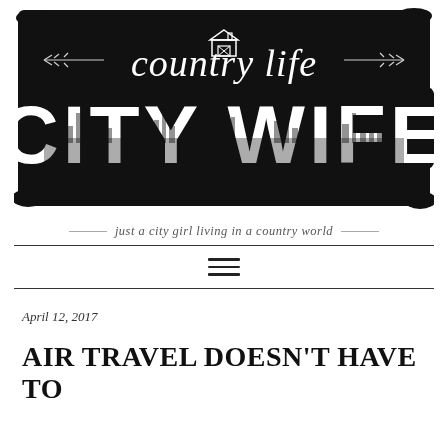[Figure (logo): Country Life City Wife blog logo — black brushstroke background with script 'country life' text, a barn icon, and large bold 'CITY WIFE' text with city skyline silhouette]
just a city girl living in a country world
April 12, 2017
AIR TRAVEL DOESN'T HAVE TO